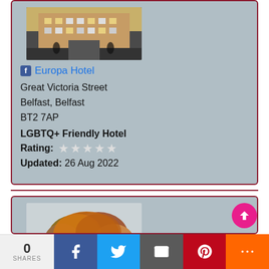[Figure (photo): Exterior photo of Europa Hotel building facade at night/dusk]
Europa Hotel
Great Victoria Street
Belfast, Belfast
BT2 7AP
LGBTQ+ Friendly Hotel
Rating: ★★★★★
Updated: 26 Aug 2022
[Figure (photo): Photo of a park with autumn trees and green grass, bench in foreground]
0 SHARES | Facebook | Twitter | Email | Pinterest | More